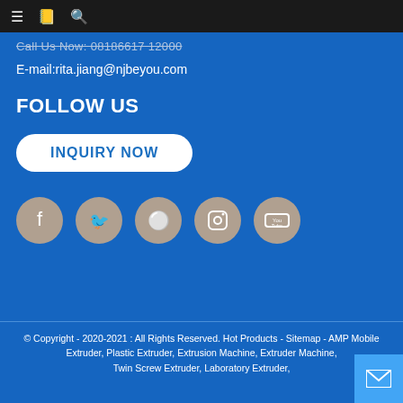≡ 📋 🔍
Call Us Now: 08186617 12000
E-mail:rita.jiang@njbeyou.com
FOLLOW US
INQUIRY NOW
[Figure (illustration): Five social media icons in gray circles: Facebook, Twitter, Pinterest, Instagram, YouTube]
© Copyright - 2020-2021 : All Rights Reserved. Hot Products - Sitemap - AMP Mobile Extruder, Plastic Extruder, Extrusion Machine, Extruder Machine, Twin Screw Extruder, Laboratory Extruder,